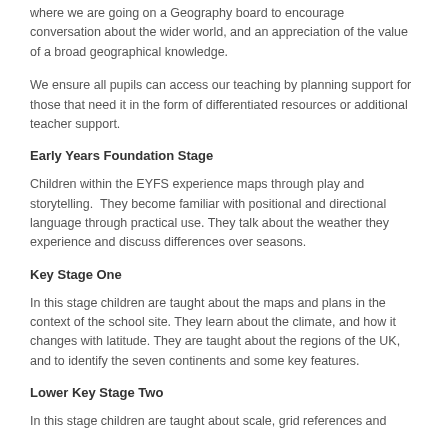where we are going on a Geography board to encourage conversation about the wider world, and an appreciation of the value of a broad geographical knowledge.
We ensure all pupils can access our teaching by planning support for those that need it in the form of differentiated resources or additional teacher support.
Early Years Foundation Stage
Children within the EYFS experience maps through play and storytelling.  They become familiar with positional and directional language through practical use. They talk about the weather they experience and discuss differences over seasons.
Key Stage One
In this stage children are taught about the maps and plans in the context of the school site. They learn about the climate, and how it changes with latitude. They are taught about the regions of the UK, and to identify the seven continents and some key features.
Lower Key Stage Two
In this stage children are taught about scale, grid references and